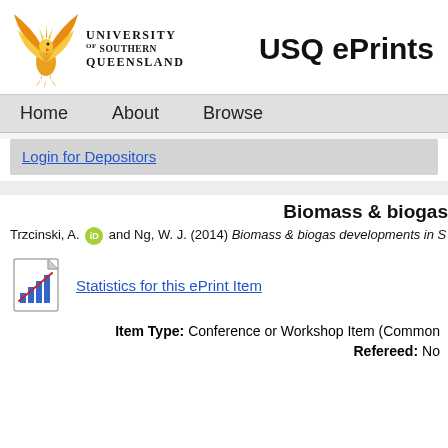[Figure (logo): University of Southern Queensland logo with golden phoenix bird and text 'UNIVERSITY OF SOUTHERN QUEENSLAND']
USQ ePrints
Home  About  Browse
Login for Depositors
Biomass & biogas
Trzcinski, A. and Ng, W. J. (2014) Biomass & biogas developments in S
[Figure (illustration): Statistics chart icon with bar chart and red diagonal line]
Statistics for this ePrint Item
Item Type:  Conference or Workshop Item (Common
Refereed:  No